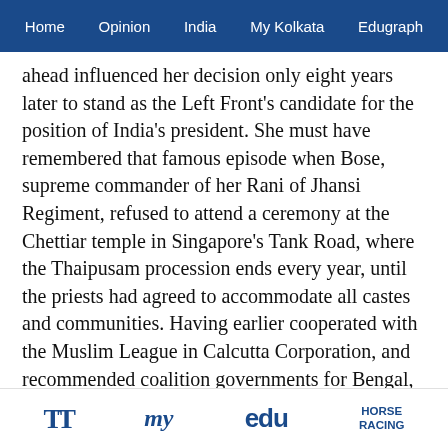Home   Opinion   India   My Kolkata   Edugraph
ahead influenced her decision only eight years later to stand as the Left Front's candidate for the position of India's president. She must have remembered that famous episode when Bose, supreme commander of her Rani of Jhansi Regiment, refused to attend a ceremony at the Chettiar temple in Singapore's Tank Road, where the Thaipusam procession ends every year, until the priests had agreed to accommodate all castes and communities. Having earlier cooperated with the Muslim League in Calcutta Corporation, and recommended coalition governments for Bengal, Punjab and Sind, Bose drew no distinction between Hindus and Muslims. They were all Indians. He himself was the ultimate Indian.
K.S. Sandhu and A. Mani claim in their monumental
TT   my   edu   HORSE RACING